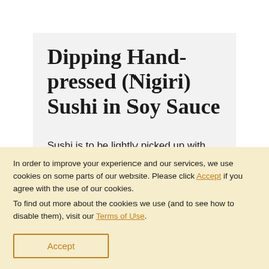Dipping Hand-pressed (Nigiri) Sushi in Soy Sauce
Sushi is to be lightly picked up with clean hands, quickly dipped into soy sauce and then
In order to improve your experience and our services, we use cookies on some parts of our website. Please click Accept if you agree with the use of our cookies.
To find out more about the cookies we use (and to see how to disable them), visit our Terms of Use.
Accept